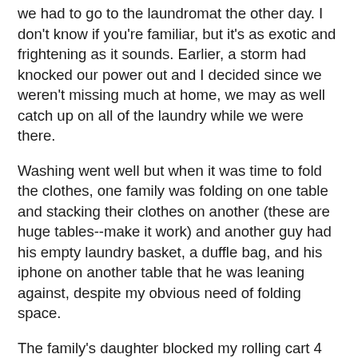we had to go to the laundromat the other day. I don't know if you're familiar, but it's as exotic and frightening as it sounds. Earlier, a storm had knocked our power out and I decided since we weren't missing much at home, we may as well catch up on all of the laundry while we were there.
Washing went well but when it was time to fold the clothes, one family was folding on one table and stacking their clothes on another (these are huge tables--make it work) and another guy had his empty laundry basket, a duffle bag, and his iphone on another table that he was leaning against, despite my obvious need of folding space.
The family's daughter blocked my rolling cart 4 different times. At first I was all, "Awww, 'scuse me, sweetie, coming through," and then, "Please step aside, thanks," and then we'd just glare at each other--as if she was the self-appointed 5-year-old gatekeeper of the dryer aisle, as I was basically forced to wait for her to allow me to pass. I never hit her with my cart but maybe the wheel nudged her toe once. I ultimately decided to fold my clothes on the two feet of space left on her parents' folded clothes table since she was more